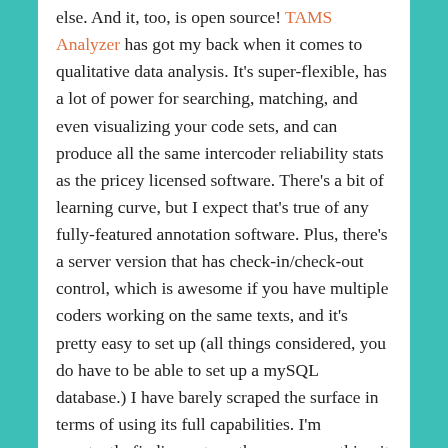else. And it, too, is open source! TAMS Analyzer has got my back when it comes to qualitative data analysis. It's super-flexible, has a lot of power for searching, matching, and even visualizing your code sets, and can produce all the same intercoder reliability stats as the pricey licensed software. There's a bit of learning curve, but I expect that's true of any fully-featured annotation software. Plus, there's a server version that has check-in/check-out control, which is awesome if you have multiple coders working on the same texts, and it's pretty easy to set up (all things considered, you do have to be able to set up a mySQL database.) I have barely scraped the surface in terms of using its full capabilities. I'm constantly finding yet another awesome thing it can do, and I learn the functionality as I need it – all the really powerful stuff it can do doesn't interfere with using it out of the box, so to speak.
And after you've spent some quality time with your coding, the time will come to sort those codes. For this, I use OmniOutliner, another product from the awesome OmniGroup. Once you have a huge heap of codes, the